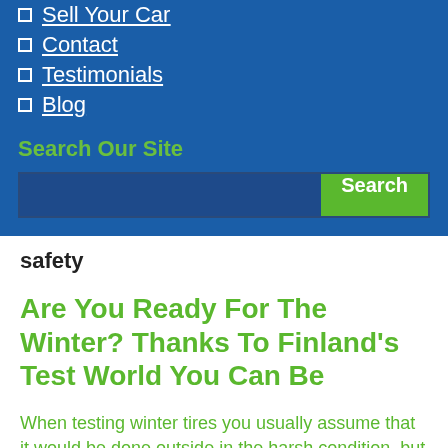Sell Your Car
Contact
Testimonials
Blog
Search Our Site
safety
Are You Ready For The Winter? Thanks To Finland’s Test World You Can Be
When testing winter tires you usually assume that it would be done outside in the harsh condition, but